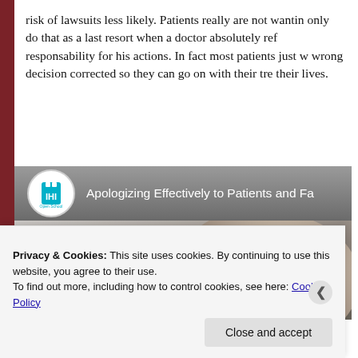risk of lawsuits less likely. Patients really are not wanting to only do that as a last resort when a doctor absolutely refuses responsability for his actions. In fact most patients just want wrong decision corrected so they can go on with their treatment their lives.
[Figure (screenshot): YouTube-style video thumbnail showing 'Apologizing Effectively to Patients and Fa...' with IHI Open School logo and an elderly man's face, with a red play button visible at the bottom right.]
Privacy & Cookies: This site uses cookies. By continuing to use this website, you agree to their use.
To find out more, including how to control cookies, see here: Cookie Policy